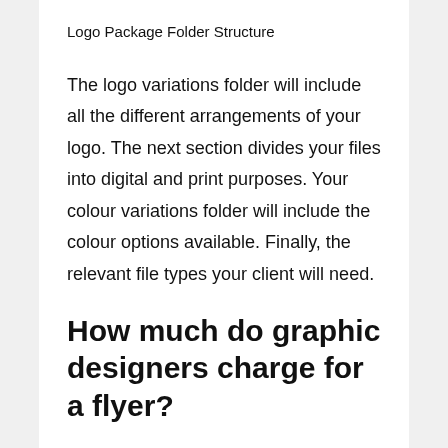Logo Package Folder Structure
The logo variations folder will include all the different arrangements of your logo. The next section divides your files into digital and print purposes. Your colour variations folder will include the colour options available. Finally, the relevant file types your client will need.
How much do graphic designers charge for a flyer?